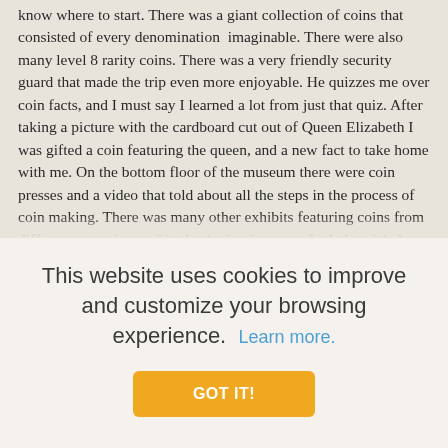know where to start. There was a giant collection of coins that consisted of every denomination imaginable. There were also many level 8 rarity coins. There was a very friendly security guard that made the trip even more enjoyable. He quizzes me over coin facts, and I must say I learned a lot from just that quiz. After taking a picture with the cardboard cut out of Queen Elizabeth I was gifted a coin featuring the queen, and a new fact to take home with me. On the bottom floor of the museum there were coin presses and a video that told about all the steps in the process of coin making. There was many other exhibits featuring coins from different countries, and it also had a showcase for hobo nickels that was very impressive. One of the buffalos had a hoodie carved into it. There were also other very impressive works of art encased in the glass. There were many posters to read , and learn about how the countries developed their use of coins and other money. There were many showcases to look at throughout the whole museum. Many of the cases had magnifying glasses over them, so you could get a closer look at the featured
This website uses cookies to improve and customize your browsing experience. Learn more.
GOT IT!